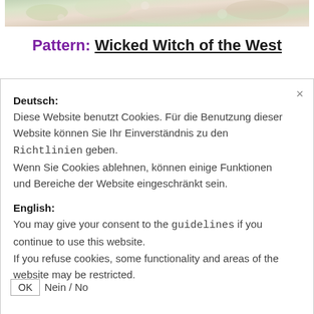[Figure (photo): Decorative floral/garden image banner at the top of the page]
Pattern: Wicked Witch of the West
Deutsch:
Diese Website benutzt Cookies. Für die Benutzung dieser Website können Sie Ihr Einverständnis zu den Richtlinien geben.
Wenn Sie Cookies ablehnen, können einige Funktionen und Bereiche der Website eingeschränkt sein.
English:
You may give your consent to the guidelines if you continue to use this website.
If you refuse cookies, some functionality and areas of the website may be restricted.
OK  Nein / No